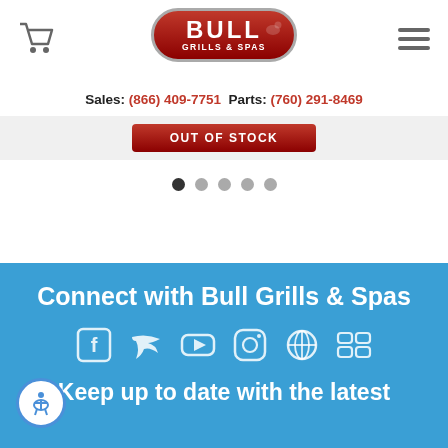Bull Grills & Spas — Sales: (866) 409-7751  Parts: (760) 291-8469
[Figure (screenshot): Out of Stock button (dark red/maroon) with white text]
[Figure (other): Carousel navigation dots — 5 dots, first one filled/dark, rest grey]
Connect with Bull Grills & Spas
[Figure (infographic): Social media icons row: Facebook, Twitter, YouTube, Instagram, Pinterest, Flickr — all white on blue background]
Keep up to date with the latest